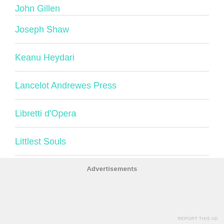John Gillen
Joseph Shaw
Keanu Heydari
Lancelot Andrewes Press
Libretti d'Opera
Littlest Souls
Liturgical Arts Journal
Advertisements